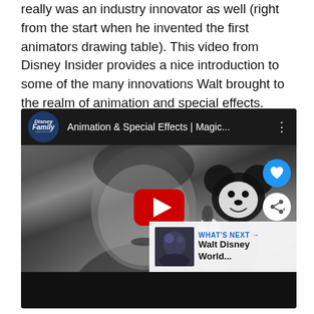really was an industry innovator as well (right from the start when he invented the first animators drawing table). This video from Disney Insider provides a nice introduction to some of the many innovations Walt brought to the realm of animation and special effects.
[Figure (screenshot): YouTube embedded video player showing a black and white photo of Walt Disney alongside an animated Mickey Mouse. The video is titled 'Animation & Special Effects | Magic...' from the Disney Family channel. A red YouTube play button is in the center. There are heart and share buttons on the right side. A 'WHAT'S NEXT' panel in the bottom right shows a thumbnail with 'Walt Disney World...' text.]